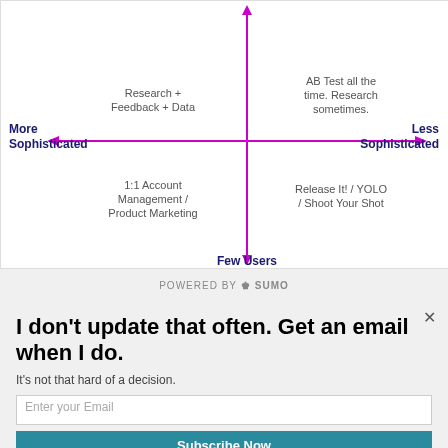[Figure (other): 2x2 quadrant diagram with magenta cross-axes. Horizontal axis: 'More Sophisticated' (left) to 'Less Sophisticated' (right). Vertical axis: top unlabeled (many users implied) to 'Few Users' (bottom). Quadrant labels: top-left 'Research + Feedback + Data', top-right 'AB Test all the time. Research sometimes.', bottom-left '1:1 Account Management / Product Marketing', bottom-right 'Release It! / YOLO / Shoot Your Shot'.]
POWERED BY SUMO
So what this implies is that our approach to de-risking
I don't update that often. Get an email when I do.
It's not that hard of a decision.